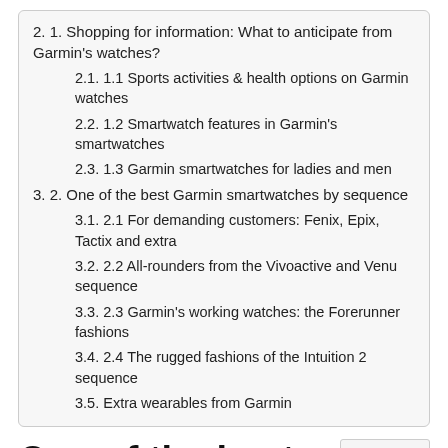2. 1. Shopping for information: What to anticipate from Garmin's watches?
2.1. 1.1 Sports activities & health options on Garmin watches
2.2. 1.2 Smartwatch features in Garmin's smartwatches
2.3. 1.3 Garmin smartwatches for ladies and men
3. 2. One of the best Garmin smartwatches by sequence
3.1. 2.1 For demanding customers: Fenix, Epix, Tactix and extra
3.2. 2.2 All-rounders from the Vivoactive and Venu sequence
3.3. 2.3 Garmin's working watches: the Forerunner fashions
3.4. 2.4 The rugged fashions of the Intuition 2 sequence
3.5. Extra wearables from Garmin
One of the best Garmin smartwatches compared
[Figure (other): reCAPTCHA widget showing recycling arrows icon with Privacy - Terms text below]